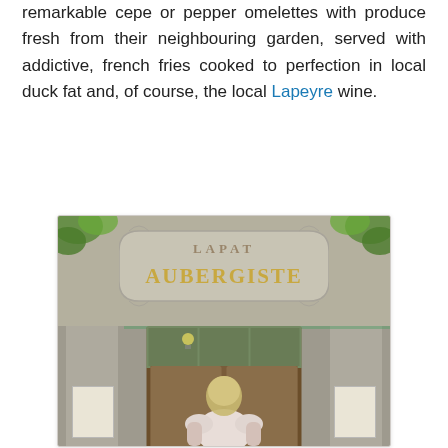remarkable cepe or pepper omelettes with produce fresh from their neighbouring garden, served with addictive, french fries cooked to perfection in local duck fat and, of course, the local Lapeyre wine.
[Figure (photo): Photograph of a stone building entrance showing a carved sign reading 'AUBERGISTE' above a wooden door. A person with blonde hair is seen from behind entering the building. Foliage visible at top corners, notice boards on either side of the entrance.]